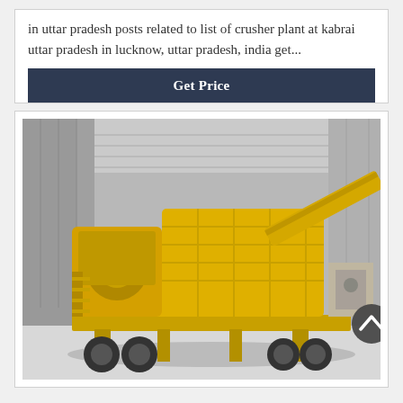in uttar pradesh posts related to list of crusher plant at kabrai uttar pradesh in lucknow, uttar pradesh, india get...
Get Price
[Figure (photo): A large yellow mobile crusher plant mounted on a truck/trailer chassis, photographed inside an industrial warehouse/factory. The machine features a jaw crusher, walkways with railings, and a conveyor. The background shows corrugated metal walls and concrete flooring.]